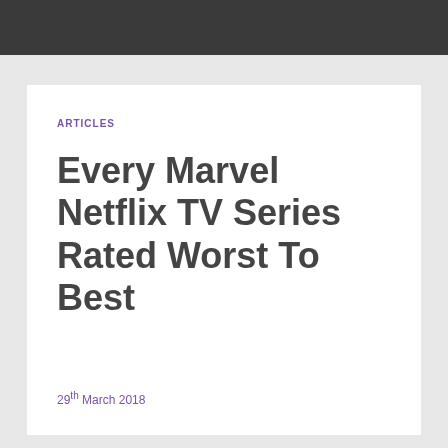ARTICLES
Every Marvel Netflix TV Series Rated Worst To Best
29th March 2018